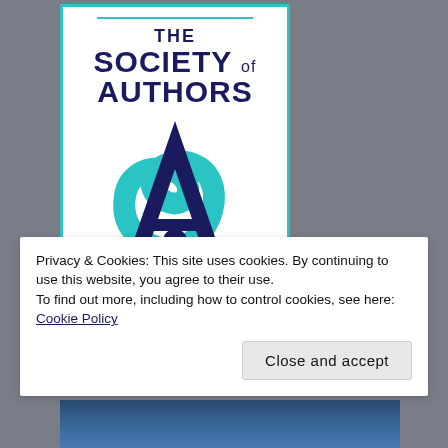[Figure (logo): The Society of Authors logo: teal border card with 'THE SOCIETY of AUTHORS' text and stylized S/A monogram in navy and teal]
Privacy & Cookies: This site uses cookies. By continuing to use this website, you agree to their use.
To find out more, including how to control cookies, see here: Cookie Policy
Close and accept